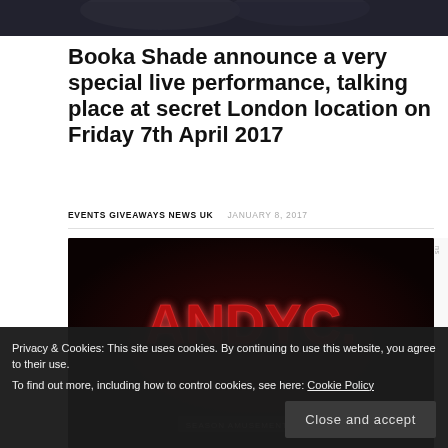[Figure (photo): Dark image of people at the top of the page, partially cropped]
Booka Shade announce a very special live performance, talking place at secret London location on Friday 7th April 2017
EVENTS GIVEAWAYS NEWS UK   JANUARY 8, 2017
[Figure (photo): Dark background image with neon-style red text reading ANDYC and a banner at the bottom reading SEASON AMUSEMENT PARK]
Privacy & Cookies: This site uses cookies. By continuing to use this website, you agree to their use.
To find out more, including how to control cookies, see here: Cookie Policy
Close and accept